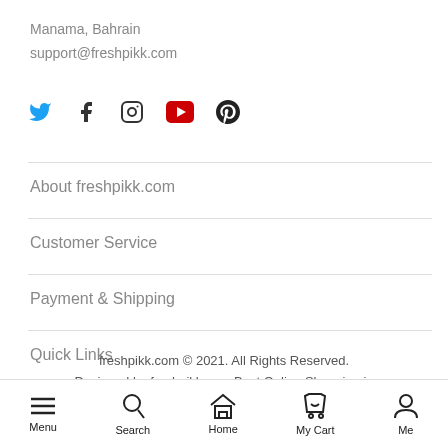Manama, Bahrain
support@freshpikk.com
[Figure (other): Social media icons: Twitter (blue bird), Facebook (f), Instagram (camera), YouTube (play button), Pinterest (P)]
About freshpikk.com
Customer Service
Payment & Shipping
Quick Links
freshpikk.com © 2021. All Rights Reserved.
Designed by freshpikk.com Best Online Shopping in
[Figure (other): Bottom navigation bar with icons: Menu (hamburger), Search (magnifying glass), Home (house), My Cart (shopping bag), Me (person)]